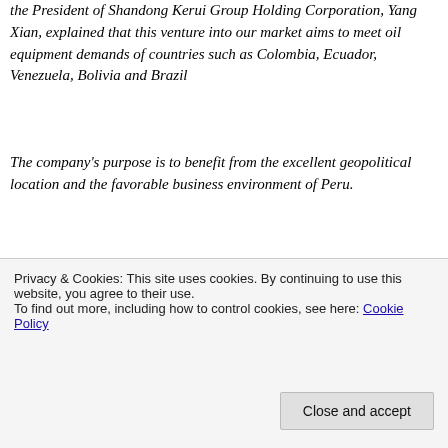the President of Shandong Kerui Group Holding Corporation, Yang Xian, explained that this venture into our market aims to meet oil equipment demands of countries such as Colombia, Ecuador, Venezuela, Bolivia and Brazil
The company's purpose is to benefit from the excellent geopolitical location and the favorable business environment of Peru.
“Politics and economic activity in Peru is better than in other Latin American countries such as Venezuela. We can strengthen our presence in Latin America from
Privacy & Cookies: This site uses cookies. By continuing to use this website, you agree to their use.
To find out more, including how to control cookies, see here: Cookie Policy
Close and accept